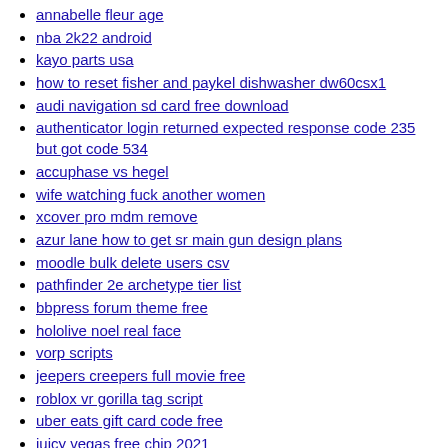annabelle fleur age
nba 2k22 android
kayo parts usa
how to reset fisher and paykel dishwasher dw60csx1
audi navigation sd card free download
authenticator login returned expected response code 235 but got code 534
accuphase vs hegel
wife watching fuck another women
xcover pro mdm remove
azur lane how to get sr main gun design plans
moodle bulk delete users csv
pathfinder 2e archetype tier list
bbpress forum theme free
hololive noel real face
vorp scripts
jeepers creepers full movie free
roblox vr gorilla tag script
uber eats gift card code free
juicy vegas free chip 2021
boris fx license key crack
jest exceeded timeout of 5000 ms for a test
aunties hot sex
hg8145v5 manual
free stories cuckold wife black stud